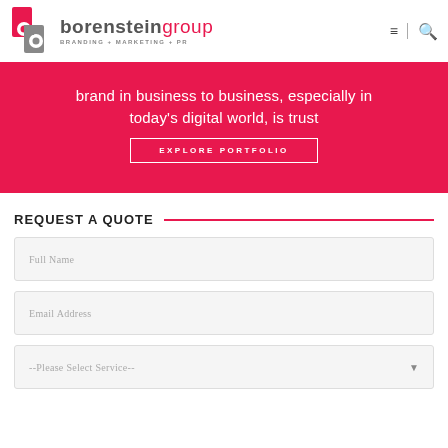[Figure (logo): Borenstein Group logo with red and grey 'bg' icon and text 'borensteingroup BRANDING + MARKETING + PR']
brand in business to business, especially in today's digital world, is trust
EXPLORE PORTFOLIO
REQUEST A QUOTE
Full Name
Email Address
--Please Select Service--